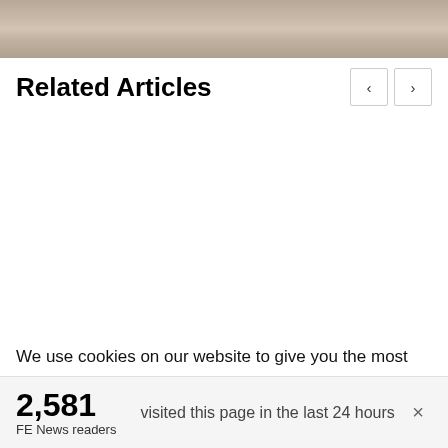[Figure (photo): Partial photo showing hands near a keyboard/tablet, muted beige/brown tones, cropped at top]
Related Articles
We use cookies on our website to give you the most relevant experience by remembering your preferences and repeat visits. By clicking “Accept”, you consent to the use of ALL the cookies. However you may visit Cookie
2,581
FE News readers
visited this page in the last 24 hours